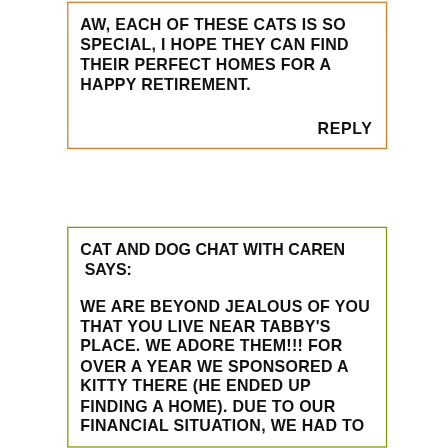AW, EACH OF THESE CATS IS SO SPECIAL, I HOPE THEY CAN FIND THEIR PERFECT HOMES FOR A HAPPY RETIREMENT.
REPLY
CAT AND DOG CHAT WITH CAREN SAYS:
WE ARE BEYOND JEALOUS OF YOU THAT YOU LIVE NEAR TABBY'S PLACE. WE ADORE THEM!!! FOR OVER A YEAR WE SPONSORED A KITTY THERE (HE ENDED UP FINDING A HOME). DUE TO OUR FINANCIAL SITUATION, WE HAD TO